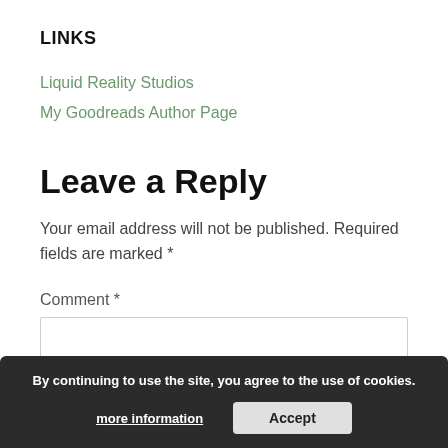LINKS
Liquid Reality Studios
My Goodreads Author Page
Leave a Reply
Your email address will not be published. Required fields are marked *
Comment *
By continuing to use the site, you agree to the use of cookies. more information  Accept